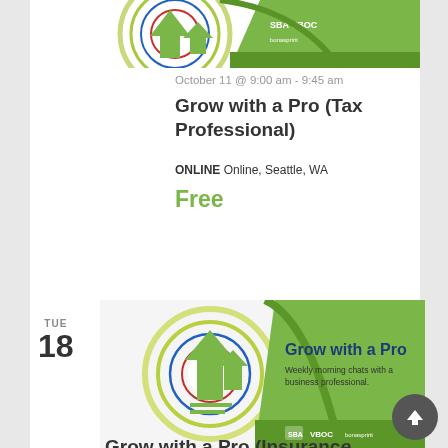[Figure (illustration): Grow with a Pro event banner with concentric circles, upward arrows, and SBA/VBOC logos on green background — top cropped]
October 11 @ 9:00 am - 9:45 am
Grow with a Pro (Tax Professional)
ONLINE Online, Seattle, WA
Free
TUE
18
[Figure (illustration): Grow with a Pro event banner with concentric circles, upward arrows, and SBA/VBOC logos on green background]
October 18 @ 9:00 am - 9:45 am
Grow with a Pro (Insurance